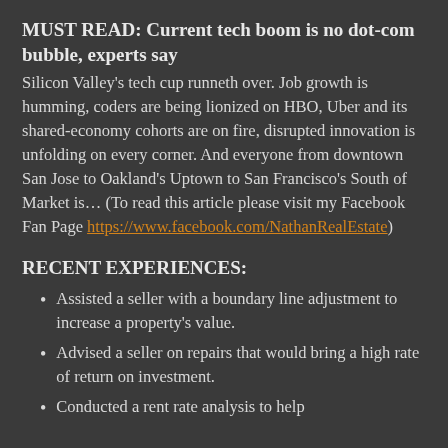MUST READ: Current tech boom is no dot-com bubble, experts say
Silicon Valley's tech cup runneth over. Job growth is humming, coders are being lionized on HBO, Uber and its shared-economy cohorts are on fire, disrupted innovation is unfolding on every corner. And everyone from downtown San Jose to Oakland's Uptown to San Francisco's South of Market is… (To read this article please visit my Facebook Fan Page https://www.facebook.com/NathanRealEstate)
RECENT EXPERIENCES:
Assisted a seller with a boundary line adjustment to increase a property's value.
Advised a seller on repairs that would bring a high rate of return on investment.
Conducted a rent rate analysis to help